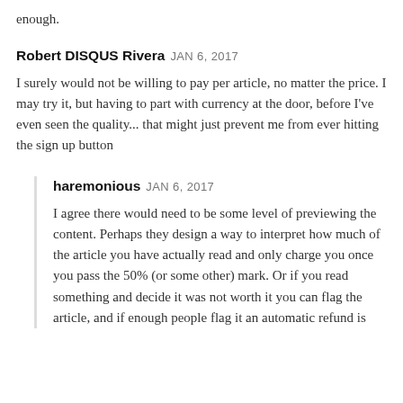enough.
Robert DISQUS Rivera JAN 6, 2017
I surely would not be willing to pay per article, no matter the price. I may try it, but having to part with currency at the door, before I've even seen the quality... that might just prevent me from ever hitting the sign up button
haremonious JAN 6, 2017
I agree there would need to be some level of previewing the content. Perhaps they design a way to interpret how much of the article you have actually read and only charge you once you pass the 50% (or some other) mark. Or if you read something and decide it was not worth it you can flag the article, and if enough people flag it an automatic refund is